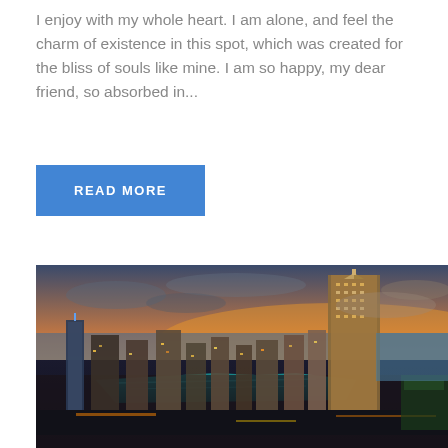I enjoy with my whole heart. I am alone, and feel the charm of existence in this spot, which was created for the bliss of souls like mine. I am so happy, my dear friend, so absorbed in...
READ MORE
[Figure (photo): Aerial night view of a city skyline with skyscrapers, a marina with teal water reflecting city lights, and a dramatic sunset sky with orange and blue hues. Appears to be Dubai Marina.]